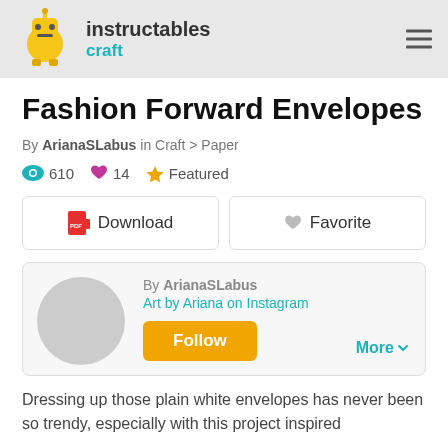instructables craft
Fashion Forward Envelopes
By ArianaSLabus in Craft > Paper
610  14  Featured
Download  Favorite
By ArianaSLabus
Art by Ariana on Instagram
Follow
More
Dressing up those plain white envelopes has never been so trendy, especially with this project inspired